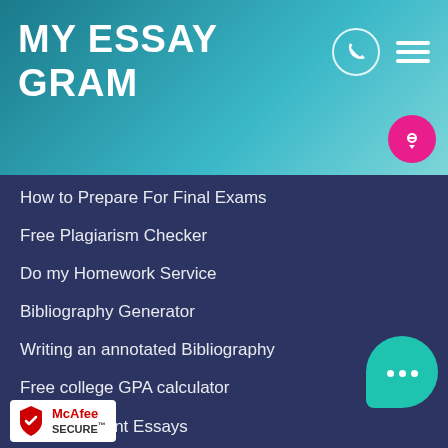MY ESSAY GRAM
How to Prepare For Final Exams
Free Plagiarism Checker
Do my Homework Service
Bibliography Generator
Writing an annotated Bibliography
Free college GPA calculator
Writing Urgent Essays
Words to Minutes Converter for Speech
Order Nursing Papers
Words to pages converter
Thesis statement generator
[Figure (logo): McAfee SECURE badge with red shield logo]
[Figure (illustration): Pink circular chat bubble icon]
[Figure (illustration): Teal speech bubble with three dots indicating live chat]